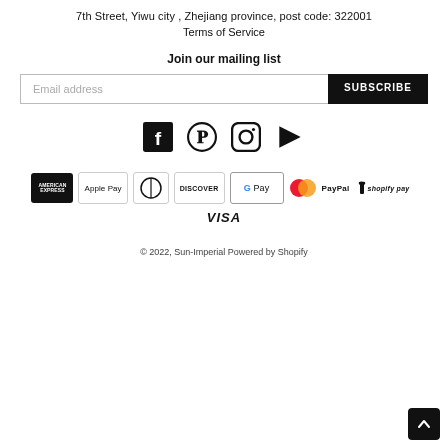7th Street, Yiwu city , Zhejiang province, post code: 322001
Terms of Service
Join our mailing list
Email address
SUBSCRIBE
[Figure (other): Social media icons: Facebook, Pinterest, Instagram, YouTube]
[Figure (other): Payment method icons: American Express, Apple Pay, Diners Club, Discover, Google Pay, Mastercard, PayPal, Shopify Pay, Visa]
© 2022, Sun-Imperial Powered by Shopify